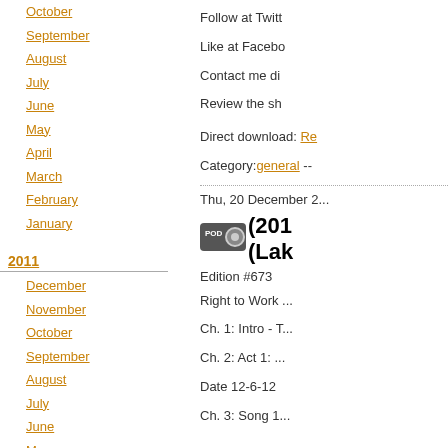October
September
August
July
June
May
April
March
February
January
2011
December
November
October
September
August
July
June
May
April
March
Follow at Twitt...
Like at Facebo...
Contact me di...
Review the sh...
Direct download: Re...
Category: general --
Thu, 20 December 2...
[Figure (other): POD podcast badge icon]
(2011... (Lak...
Edition #673
Right to Work...
Ch. 1: Intro - T...
Ch. 2: Act 1: ...
Date 12-6-12
Ch. 3: Song 1...